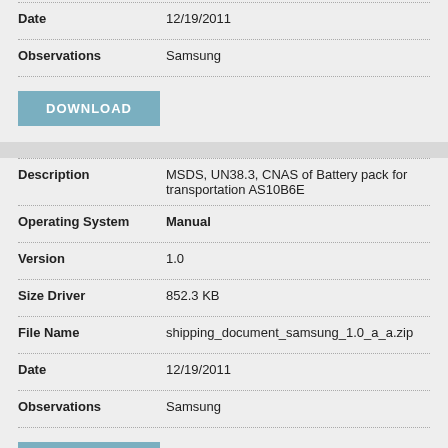| Field | Value |
| --- | --- |
| Date | 12/19/2011 |
| Observations | Samsung |
DOWNLOAD
| Field | Value |
| --- | --- |
| Description | MSDS, UN38.3, CNAS of Battery pack for transportation AS10B6E |
| Operating System | Manual |
| Version | 1.0 |
| Size Driver | 852.3 KB |
| File Name | shipping_document_samsung_1.0_a_a.zip |
| Date | 12/19/2011 |
| Observations | Samsung |
DOWNLOAD